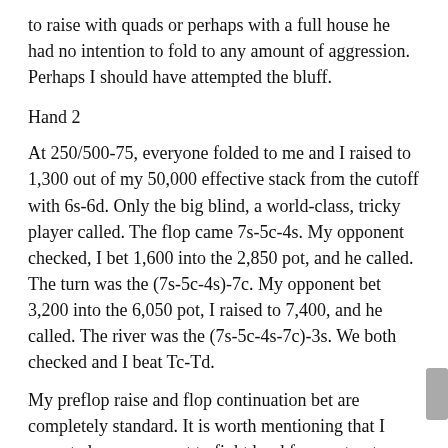to raise with quads or perhaps with a full house he had no intention to fold to any amount of aggression. Perhaps I should have attempted the bluff.
Hand 2
At 250/500-75, everyone folded to me and I raised to 1,300 out of my 50,000 effective stack from the cutoff with 6s-6d. Only the big blind, a world-class, tricky player called. The flop came 7s-5c-4s. My opponent checked, I bet 1,600 into the 2,850 pot, and he called. The turn was the (7s-5c-4s)-7c. My opponent bet 3,200 into the 6,050 pot, I raised to 7,400, and he called. The river was the (7s-5c-4s-7c)-3s. We both checked and I beat Tc-Td.
My preflop raise and flop continuation bet are completely standard. It is worth mentioning that I expected my opponent to fight hard for most pots on boards containing mostly middle cards. I didn't plan to fold to any reasonable amount of flop or turn aggression. I think my opponent's flop check-calling range is quite wide, perhaps including hands as weak as Qc-9c and 8c-8s, although he may elect to check-raise with those.